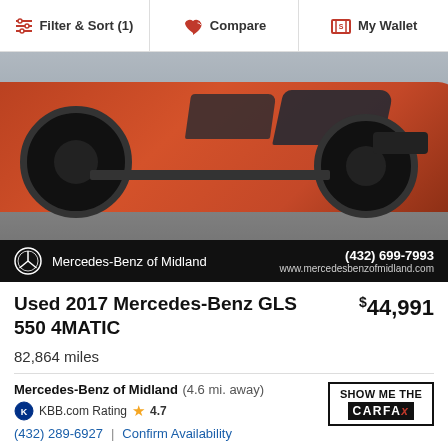Filter & Sort (1) | Compare | My Wallet
[Figure (photo): Red Mercedes-Benz GLS 550 4MATIC SUV, front/side view, parked outdoors. Below the photo is a black banner with Mercedes-Benz logo, dealer name 'Mercedes-Benz of Midland', phone (432) 699-7993, and website www.mercedesbenzofmidland.com]
Used 2017 Mercedes-Benz GLS 550 4MATIC
$44,991
82,864 miles
Mercedes-Benz of Midland (4.6 mi. away)
KBB.com Rating 4.7
(432) 289-6927 | Confirm Availability
Delivery
Online Paperwork